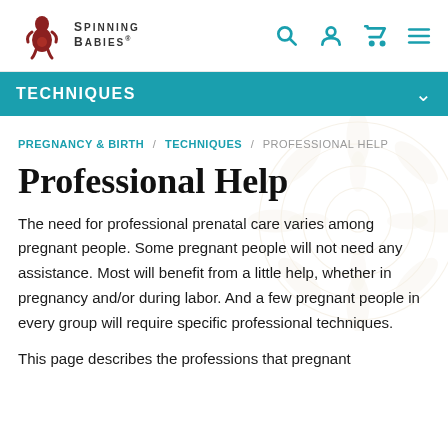Spinning Babies
TECHNIQUES
PREGNANCY & BIRTH / TECHNIQUES / PROFESSIONAL HELP
Professional Help
The need for professional prenatal care varies among pregnant people. Some pregnant people will not need any assistance. Most will benefit from a little help, whether in pregnancy and/or during labor. And a few pregnant people in every group will require specific professional techniques.
This page describes the professions that pregnant people in every group will require specific professional techniques.